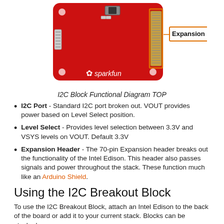[Figure (photo): Top view of SparkFun I2C Block PCB (red board) with an orange rectangle callout labeled 'Expansion Header' pointing to the 70-pin expansion connector on the right side of the board.]
I2C Block Functional Diagram TOP
I2C Port - Standard I2C port broken out. VOUT provides power based on Level Select position.
Level Select - Provides level selection between 3.3V and VSYS levels on VOUT. Default 3.3V
Expansion Header - The 70-pin Expansion header breaks out the functionality of the Intel Edison. This header also passes signals and power throughout the stack. These function much like an Arduino Shield.
Using the I2C Breakout Block
To use the I2C Breakout Block, attach an Intel Edison to the back of the board or add it to your current stack. Blocks can be stacked